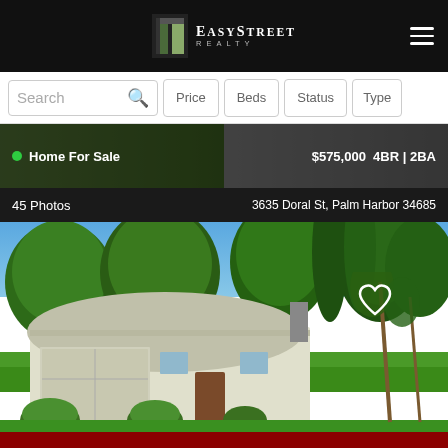[Figure (logo): EasyStreet Realty logo on black header bar with hamburger menu]
[Figure (screenshot): Search bar with Search input box and filter buttons: Price, Beds, Status, Type]
Home For Sale   $575,000   4BR | 2BA
45 Photos   3635 Doral St, Palm Harbor 34685
[Figure (photo): Exterior photo of a single-story home with white garage, lush green trees and lawn at 3635 Doral St, Palm Harbor]
Call to Schedule a Showing
(813) 452-4250